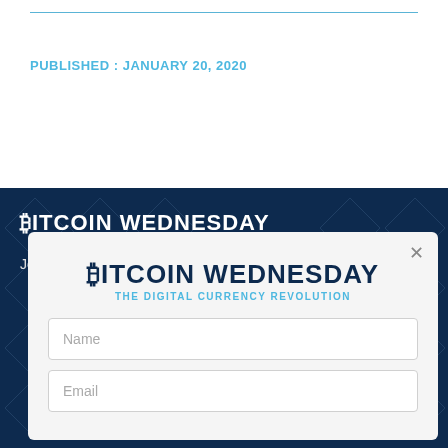PUBLISHED : JANUARY 20, 2020
[Figure (screenshot): Bitcoin Wednesday website footer section with dark navy blue background and geometric network pattern overlay, showing site branding and newsletter signup modal]
BITCOIN WEDNESDAY
Join us and stay up to date.
[Figure (screenshot): Newsletter signup modal with Bitcoin Wednesday logo, name and email input fields, and close button]